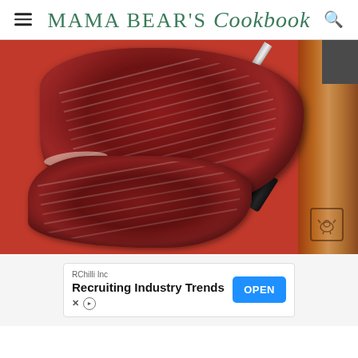Mama Bear's Cookbook
[Figure (photo): Raw beef/steak cuts on a red cutting board with a knife, viewed from above. A wooden-handled cutting board edge is visible on the right with a bull logo stamped on it.]
[Figure (other): Advertisement banner: RChilli Inc - Recruiting Industry Trends - OPEN button]